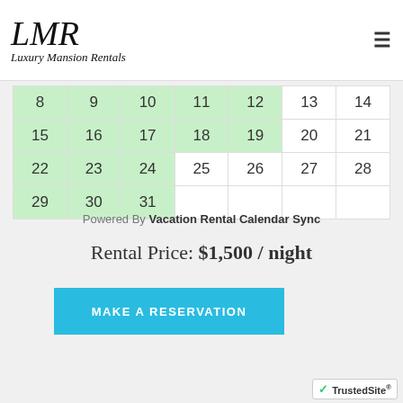[Figure (logo): Luxury Mansion Rentals script logo with LMR monogram]
| 8 | 9 | 10 | 11 | 12 | 13 | 14 |
| 15 | 16 | 17 | 18 | 19 | 20 | 21 |
| 22 | 23 | 24 | 25 | 26 | 27 | 28 |
| 29 | 30 | 31 |  |  |  |  |
Powered By Vacation Rental Calendar Sync
Rental Price: $1,500 / night
MAKE A RESERVATION
[Figure (logo): TrustedSite badge]